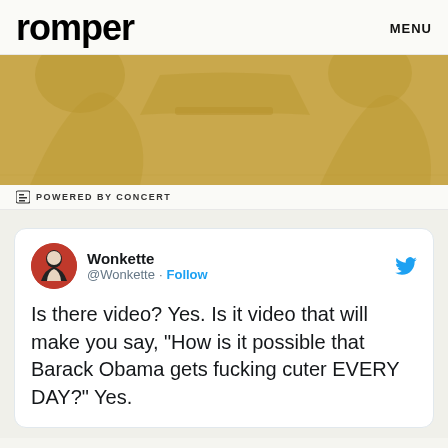romper   MENU
[Figure (illustration): Golden/tan colored advertisement banner with abstract decorative figures in the background]
POWERED BY CONCERT
Wonkette @Wonkette · Follow

Is there video? Yes. Is it video that will make you say, "How is it possible that Barack Obama gets fucking cuter EVERY DAY?" Yes.